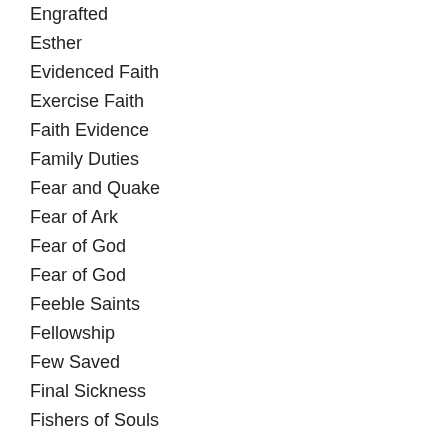Engrafted
Esther
Evidenced Faith
Exercise Faith
Faith Evidence
Family Duties
Fear and Quake
Fear of Ark
Fear of God
Fear of God
Feeble Saints
Fellowship
Few Saved
Final Sickness
Fishers of Souls